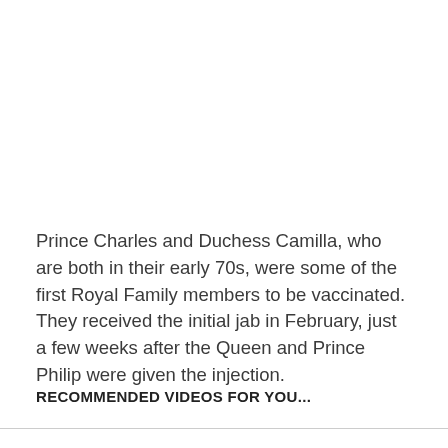Prince Charles and Duchess Camilla, who are both in their early 70s, were some of the first Royal Family members to be vaccinated. They received the initial jab in February, just a few weeks after the Queen and Prince Philip were given the injection.
RECOMMENDED VIDEOS FOR YOU...